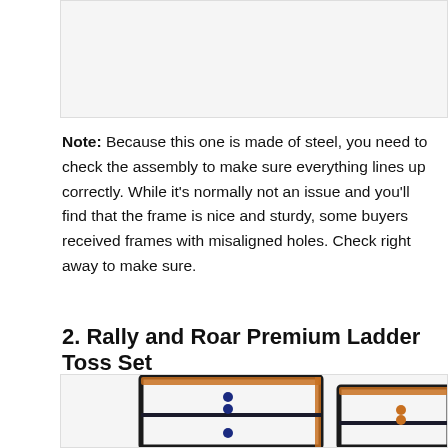[Figure (photo): Top portion of a product image (partially visible, gray/white background box)]
Note: Because this one is made of steel, you need to check the assembly to make sure everything lines up correctly. While it's normally not an issue and you'll find that the frame is nice and sturdy, some buyers received frames with misaligned holes. Check right away to make sure.
2. Rally and Roar Premium Ladder Toss Set
[Figure (photo): Photo of Rally and Roar Premium Ladder Toss Set showing two ladder toss frames side by side with orange trim and bola balls hanging]